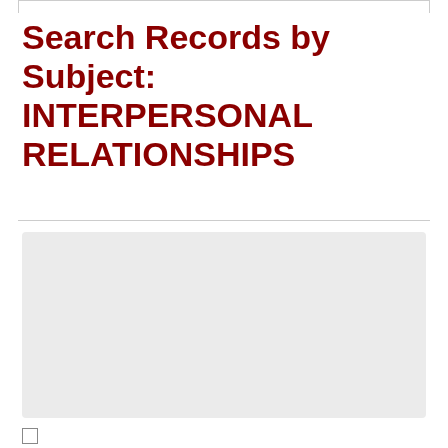Search Records by Subject: INTERPERSONAL RELATIONSHIPS
Search For:
Subject
INTERPERSONAL RELATIO
Search
Found 11 items on 1 pages.
Explain search syntax